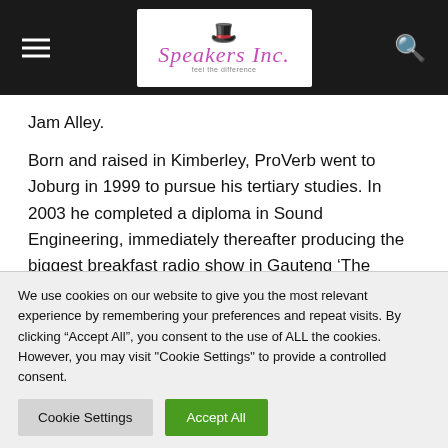Speakers Inc. — site header with navigation hamburger, logo, and search icon
Jam Alley.
Born and raised in Kimberley, ProVerb went to Joburg in 1999 to pursue his tertiary studies. In 2003 he completed a diploma in Sound Engineering, immediately thereafter producing the biggest breakfast radio show in Gauteng ‘The Freshest Breakfast Show’ hosted by DJ Fresh (in 2004).
Three years later he advanced to a national radio station...
We use cookies on our website to give you the most relevant experience by remembering your preferences and repeat visits. By clicking “Accept All”, you consent to the use of ALL the cookies. However, you may visit "Cookie Settings" to provide a controlled consent.